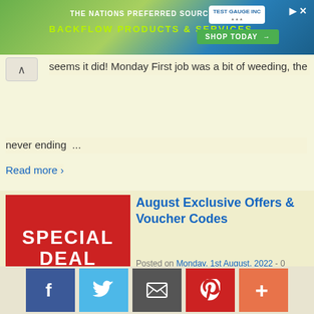[Figure (screenshot): Banner advertisement for Test Gauge Inc — 'The Nations Preferred Source for Backflow Products & Services' with Shop Today button]
seems it did! Monday First job was a bit of weeding, the
never ending ...
Read more ›
[Figure (illustration): Red square promotional image with text 'SPECIAL DEAL' and 'Limited time offer!']
August Exclusive Offers & Voucher Codes
Posted on Monday, 1st August, 2022 - 0 Comments ↓
Exclusive voucher codes for gardening equipment plus our books with free seeds and postage offer. Harrod Horticultural Discount Voucher Code Harrod Horticultural – our exclusive voucher discount code.
[Figure (infographic): Social sharing bar with Facebook, Twitter, Email, Pinterest, and More (+) buttons]